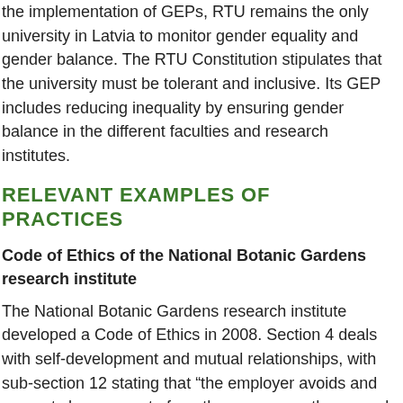the implementation of GEPs, RTU remains the only university in Latvia to monitor gender equality and gender balance. The RTU Constitution stipulates that the university must be tolerant and inclusive. Its GEP includes reducing inequality by ensuring gender balance in the different faculties and research institutes.
RELEVANT EXAMPLES OF PRACTICES
Code of Ethics of the National Botanic Gardens research institute
The National Botanic Gardens research institute developed a Code of Ethics in 2008. Section 4 deals with self-development and mutual relationships, with sub-section 12 stating that “the employer avoids and prevents harassment of another person on the grounds of race, gender/sex [in Latvian, the term dzimums is used to refer to both sex and gender], age, national origin, status [Translator’s note], the interests of the employer